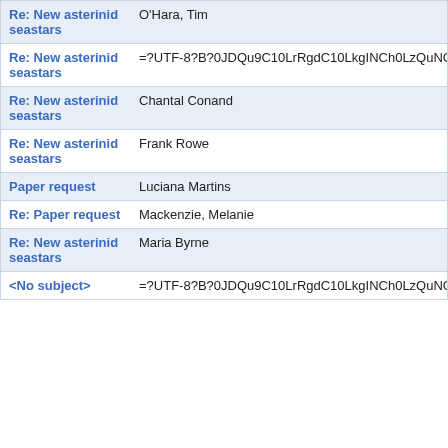| Re: New asterinid seastars | O'Hara, Tim |
| Re: New asterinid seastars | =?UTF-8?B?0JDQu9C10LrRgdC10LkgINCh0LzQuNGA0L3QvtCy |
| Re: New asterinid seastars | Chantal Conand |
| Re: New asterinid seastars | Frank Rowe |
| Paper request | Luciana Martins |
| Re: Paper request | Mackenzie, Melanie |
| Re: New asterinid seastars | Maria Byrne |
| <No subject> | =?UTF-8?B?0JDQu9C10LrRgdC10LkgINCh0LzQuNGA0L3QvtCy |